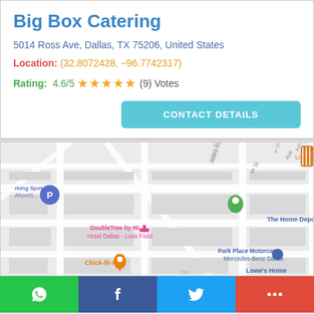Big Box Catering
5014 Ross Ave, Dallas, TX 75206, United States
Location: (32.8072428, −96.7742317)
Rating: 4.6/5 ★★★★★ (9) Votes
[Figure (screenshot): CONTACT DETAILS button]
[Figure (map): Google Maps view showing area near Dallas Love Field with landmarks: Popeyes Louisiana Kitchen, DoubleTree by Hilton Hotel Dallas - Love Field, The Home Depot, Park Place Motorcars Mercedes-Benz Dallas, Chick-fil-A, Lowe's Home, parking area. A green map pin is visible.]
WhatsApp | Facebook | Twitter | More